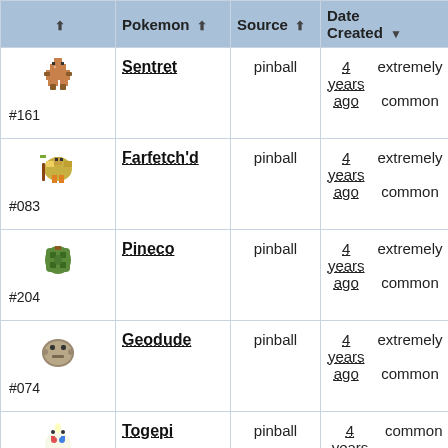|  | Pokemon | Source | Date Created | Rarity |
| --- | --- | --- | --- | --- |
| [sprite] #161 | Sentret | pinball | 4 years ago | extremely common |
| [sprite] #083 | Farfetch'd | pinball | 4 years ago | extremely common |
| [sprite] #204 | Pineco | pinball | 4 years ago | extremely common |
| [sprite] #074 | Geodude | pinball | 4 years ago | extremely common |
| [sprite] #175 | Togepi | pinball | 4 years ago | common |